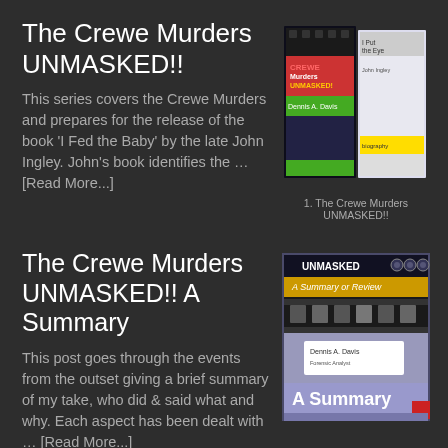The Crewe Murders UNMASKED!!
[Figure (photo): Book cover image for 'The Crewe Murders UNMASKED!!' with caption '1. The Crewe Murders UNMASKED!!']
This series covers the Crewe Murders and prepares for the release of the book 'I Fed the Baby' by the late John Ingley. John's book identifies the … [Read More...]
The Crewe Murders UNMASKED!! A Summary
[Figure (photo): Book cover image for 'The Crewe Murders UNMASKED!! A Summary' showing 'UNMASKED' text and 'A Summary' label]
This post goes through the events from the outset giving a brief summary of my take, who did & said what and why. Each aspect has been dealt with … [Read More...]